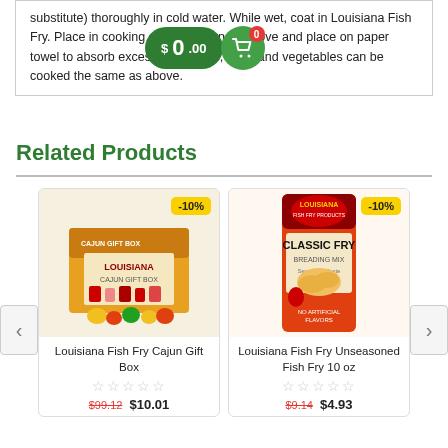substitute) thoroughly in cold water. While wet, coat in Louisiana Fish Fry. Place in cooking oil until brown. Remove and place on paper towel to absorb excess oil. Shrimp, meat and vegetables can be cooked the same as above.
[Figure (other): Shopping cart button overlay showing $0.00 price with green background and cart icon with 0 badge]
Related Products
[Figure (photo): Louisiana Fish Fry Cajun Gift Box product image with -10% discount badge]
Louisiana Fish Fry Cajun Gift Box
★★★★★ (empty stars)
$99.12  $10.01
[Figure (photo): Louisiana Fish Fry Unseasoned Fish Fry 10 oz Classic Fry Breading Mix bag with -10% discount badge]
Louisiana Fish Fry Unseasoned Fish Fry 10 oz
★★★★★ (empty stars)
$9.14  $4.93